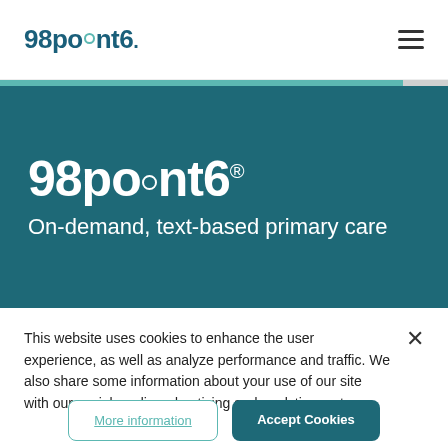98point6 — navigation header with hamburger menu
[Figure (logo): 98point6 logo with teal dot over the letter i]
On-demand, text-based primary care
This website uses cookies to enhance the user experience, as well as analyze performance and traffic. We also share some information about your use of our site with our social media, advertising and analytics partners.
More information
Accept Cookies